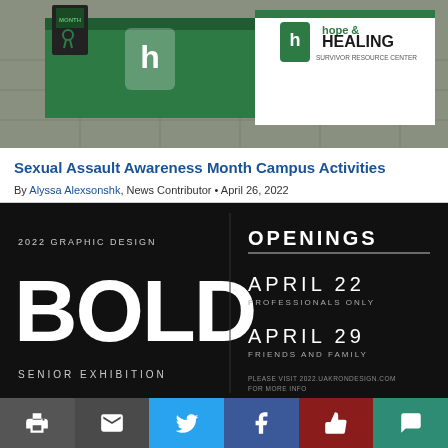[Figure (photo): Photo of a Hope & Healing Survivor Resource Center table display with green tablecloth and banner, and another green table with 'h' logo.]
Sexual Assault Awareness Month Campus Activities
By Alyssa Alexsonshk, News Contributor • April 26, 2022
[Figure (photo): Black promotional poster for 2022 Graphic Design Bold Senior Exhibition. Left side shows large white 'BOLD' text. Right side lists Openings: April 22 (Professionals Only) and April 29 (Friends and Family). Bottom text: Please visit 2022.uakrondesign.com for more info.]
Print | Email | Twitter | Facebook | Like | Comment